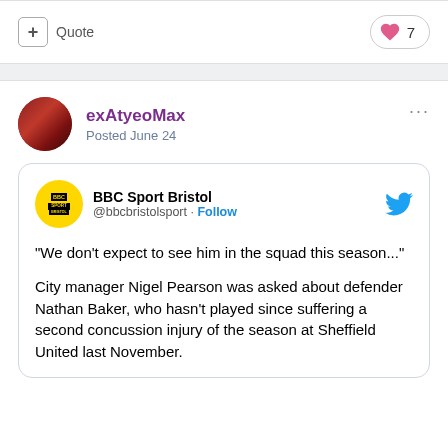+ Quote   ♥ 7
exAtyeoMax
Posted June 24
[Figure (screenshot): Embedded tweet from BBC Sport Bristol (@bbcbristolsport) with Follow button and Twitter bird icon. Tweet text: "We don't expect to see him in the squad this season..." City manager Nigel Pearson was asked about defender Nathan Baker, who hasn't played since suffering a second concussion injury of the season at Sheffield United last November.]